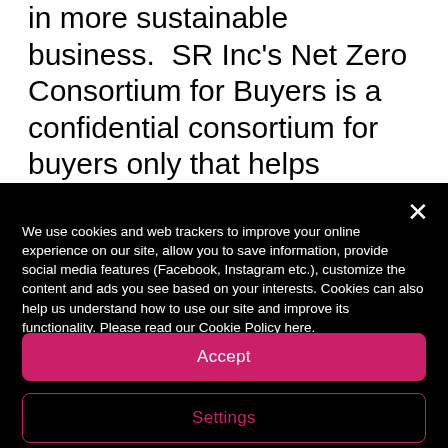in more sustainable business. SR Inc's Net Zero Consortium for Buyers is a confidential consortium for buyers only that helps participants develop global renewable energy and emissions reduction strategies and is the leading platform for Buyer Aggregated Virtual Power Purchase Agreements (VPPAs).
We use cookies and web trackers to improve your online experience on our site, allow you to save information, provide social media features (Facebook, Instagram etc.), customize the content and ads you see based on your interests. Cookies can also help us understand how to use our site and improve its functionality. Please read our Cookie Policy here.
Accept
Settings